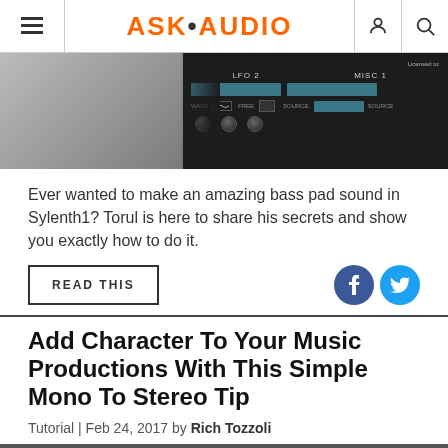ASK·AUDIO
[Figure (screenshot): Partial image of a synthesizer plugin (Sylenth1) interface with LFO 2, MISC 1, wavetable and knob controls visible, alongside a blurred background photo]
Ever wanted to make an amazing bass pad sound in Sylenth1? Torul is here to share his secrets and show you exactly how to do it.
READ THIS
Add Character To Your Music Productions With This Simple Mono To Stereo Tip
Tutorial | Feb 24, 2017 by Rich Tozzoli